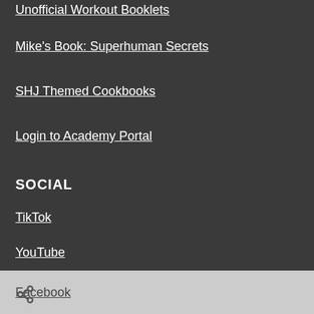Unofficial Workout Booklets
Mike's Book: Superhuman Secrets
SHJ Themed Cookbooks
Login to Academy Portal
SOCIAL
TikTok
YouTube
Instagram
Facebook